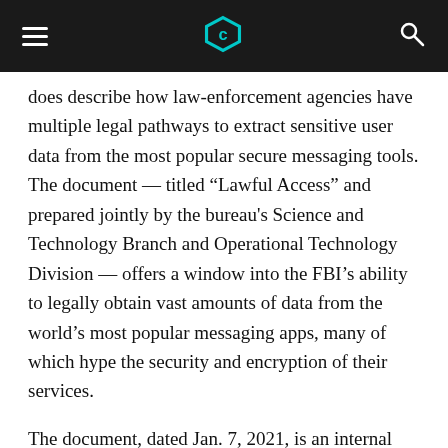[hamburger menu] [Cyberscoop logo] [search icon]
does describe how law-enforcement agencies have multiple legal pathways to extract sensitive user data from the most popular secure messaging tools. The document — titled “Lawful Access” and prepared jointly by the bureau's Science and Technology Branch and Operational Technology Division — offers a window into the FBI’s ability to legally obtain vast amounts of data from the world’s most popular messaging apps, many of which hype the security and encryption of their services.
The document, dated Jan. 7, 2021, is an internal FBI guide to what kinds of data state and federal law-enforcement agencies can request from nine of the largest messaging apps. Legal experts and technologists who reviewed the FBI document say that it’s rare to get such detailed information